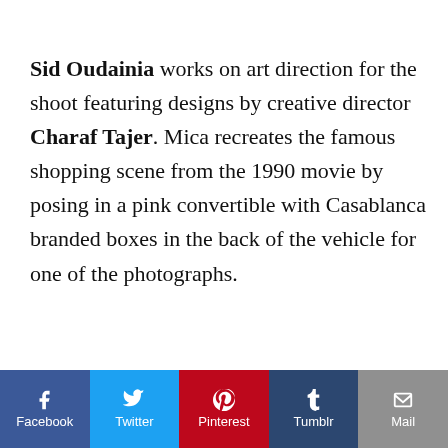Sid Oudainia works on art direction for the shoot featuring designs by creative director Charaf Tajer. Mica recreates the famous shopping scene from the 1990 movie by posing in a pink convertible with Casablanca branded boxes in the back of the vehicle for one of the photographs.
Related: Mica Arganaraz Looks Elegant in Chanel Pre-Fall 2023 Campaign
[Figure (other): Social sharing buttons bar: Facebook (blue), Twitter (cyan), Pinterest (red), Tumblr (dark blue), Mail (gray)]